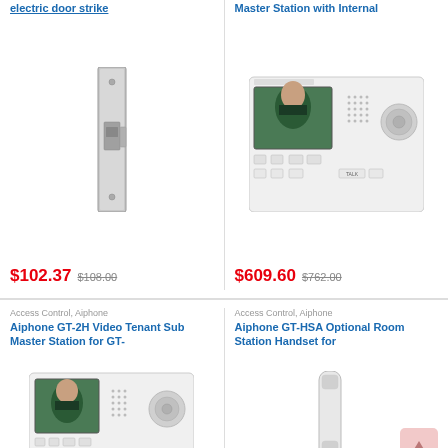electric door strike
Master Station with Internal
[Figure (photo): Electric door strike metal hardware, slim vertical rectangular shape, silver/grey color]
[Figure (photo): Aiphone GT master station with internal video screen showing woman's face, white unit with buttons and dial]
$102.37
$108.00
$609.60
$762.00
Access Control, Aiphone
Aiphone GT-2H Video Tenant Sub Master Station for GT-
Access Control, Aiphone
Aiphone GT-HSA Optional Room Station Handset for
[Figure (photo): Aiphone GT-2H video tenant sub master station showing screen with woman's face, white unit with controls]
[Figure (photo): Aiphone GT-HSA room station handset, white slim handset device]